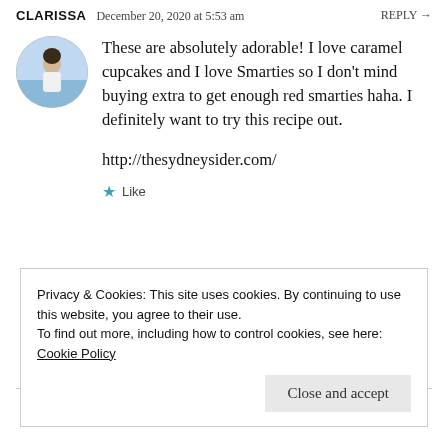CLARISSA   December 20, 2020 at 5:53 am   REPLY →
[Figure (photo): Circular avatar photo of a woman standing near water]
These are absolutely adorable! I love caramel cupcakes and I love Smarties so I don't mind buying extra to get enough red smarties haha. I definitely want to try this recipe out.

http://thesydneysider.com/
★ Like
Privacy & Cookies: This site uses cookies. By continuing to use this website, you agree to their use.
To find out more, including how to control cookies, see here: Cookie Policy
Close and accept